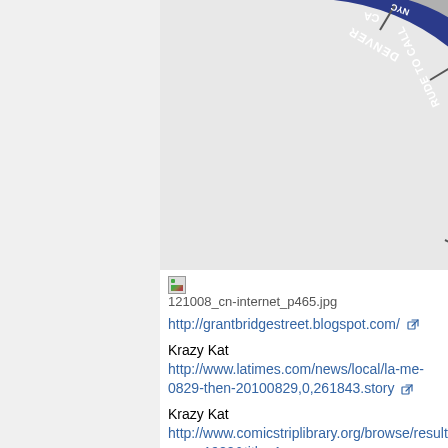[Figure (other): Partial view of a circular dial or wheel chart showing segments labeled with text (upside-down): ALASKA, US WEST COAST, RUDE TO CALL, DENVER, and other partially visible labels. The dial has concentric rings in dark gray/charcoal, light gray, and a blue outer ring. Text appears rotated at various angles within the segments.]
121008_cn-internet_p465.jpg
http://grantbridgestreet.blogspot.com/
Krazy Kat
http://www.latimes.com/news/local/la-me-0829-then-20100829,0,261843.story
Krazy Kat
http://www.comicstriplibrary.org/browse/results?year=1922&title=1
cheese cake